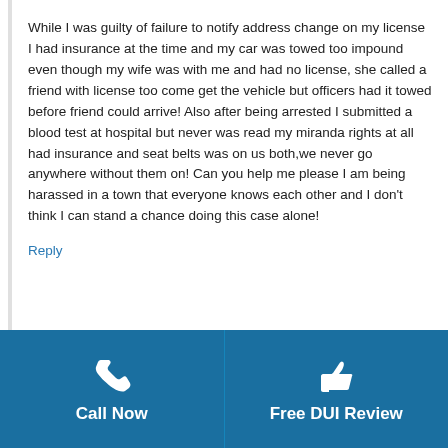While I was guilty of failure to notify address change on my license I had insurance at the time and my car was towed too impound even though my wife was with me and had no license, she called a friend with license too come get the vehicle but officers had it towed before friend could arrive! Also after being arrested I submitted a blood test at hospital but never was read my miranda rights at all had insurance and seat belts was on us both,we never go anywhere without them on! Can you help me please I am being harassed in a town that everyone knows each other and I don't think I can stand a chance doing this case alone!
Reply
[Figure (infographic): Blue bottom bar with two buttons: Call Now (phone icon) and Free DUI Review (thumbs up icon)]